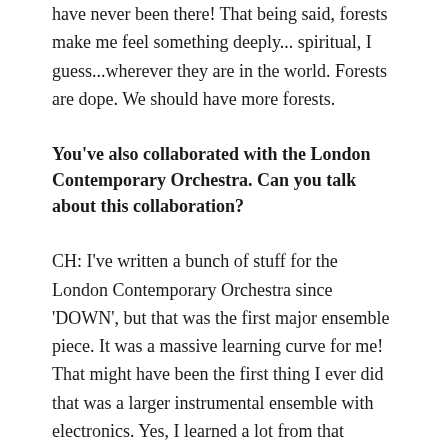have never been there! That being said, forests make me feel something deeply... spiritual, I guess...wherever they are in the world. Forests are dope. We should have more forests.
You've also collaborated with the London Contemporary Orchestra. Can you talk about this collaboration?
CH: I've written a bunch of stuff for the London Contemporary Orchestra since 'DOWN', but that was the first major ensemble piece. It was a massive learning curve for me! That might have been the first thing I ever did that was a larger instrumental ensemble with electronics. Yes, I learned a lot from that experience - and have been very grateful that the LCO are a supportive bunch, cos yeah, there was a lot of practical stuff that I've now learned is best done differently.
Without going too far into it, I've come to the opinion that the more you can get the instrumentalists to do live (as opposed to pre-done